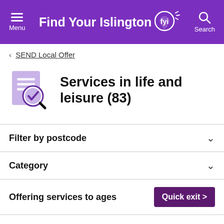Find Your Islington FYI — Menu | Search
< SEND Local Offer
Services in life and leisure (83)
Filter by postcode
Category
Offering services to ages